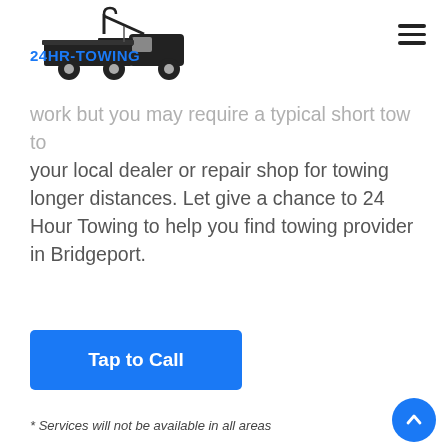24HR-TOWING [logo with tow truck]
work but you may require a typical short tow to your local dealer or repair shop for towing longer distances. Let give a chance to 24 Hour Towing to help you find towing provider in Bridgeport.
[Figure (other): Blue 'Tap to Call' button]
* Services will not be available in all areas